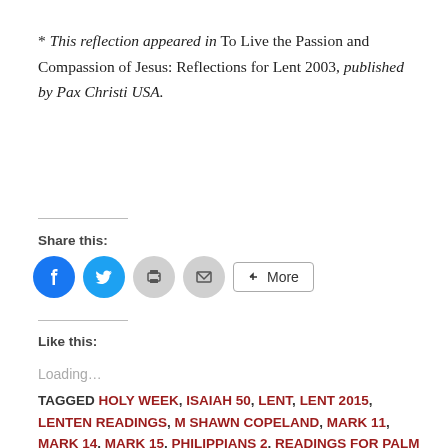* This reflection appeared in To Live the Passion and Compassion of Jesus: Reflections for Lent 2003, published by Pax Christi USA.
Share this:
[Figure (infographic): Social share buttons: Facebook (blue circle), Twitter (blue circle), Print (grey circle), Email (grey circle), and a More button]
Like this:
Loading...
TAGGED HOLY WEEK, ISAIAH 50, LENT, LENT 2015, LENTEN READINGS, M SHAWN COPELAND, MARK 11, MARK 14, MARK 15, PHILIPPIANS 2, READINGS FOR PALM